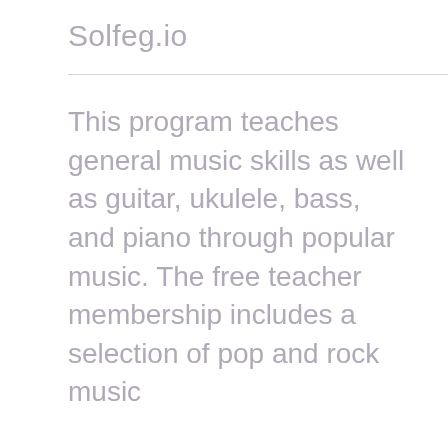Solfeg.io
This program teaches general music skills as well as guitar, ukulele, bass, and piano through popular music. The free teacher membership includes a selection of pop and rock music